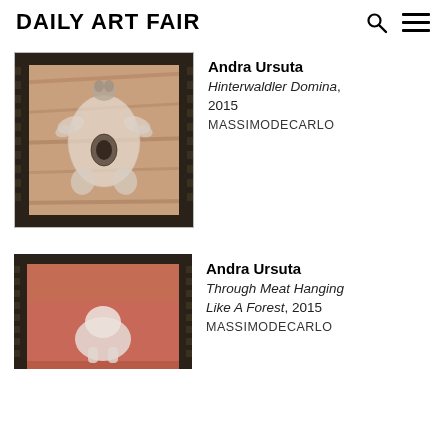Daily Art Fair
[Figure (photo): Artwork by Andra Ursuta titled Hinterwaldler Domina, 2015 - a framed artwork with a sculptural element resembling a translucent figure with appendages on a warm brown background, with a spiky dark frame]
Andra Ursuta
Hinterwaldler Domina, 2015
MASSIMODECARLO
[Figure (photo): Artwork by Andra Ursuta titled Through Meat Hanging Like A Forest, 2015 - a framed artwork showing a reddish-orange background with a ghost-like white figure, with a spiky dark frame]
Andra Ursuta
Through Meat Hanging Like A Forest, 2015
MASSIMODECARLO